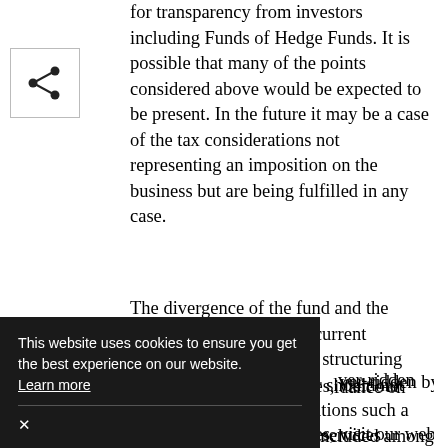for transparency from investors including Funds of Hedge Funds. It is possible that many of the points considered above would be expected to be present. In the future it may be a case of the tax considerations not representing an imposition on the business but are being fulfilled in any case.
The divergence of the fund and the manager domicile in the current environment is a sensible structuring approach but the manager should not forget the fiscal considerations such a divergence gives rise to. Included among these considerations the tax residence of the fund. The tax residency rules are not difficult to understand. The tension comes in ensuring that they are [not over-ridden by
...idance on hedge fund manager issues, visit our website www.rsmi.co.uk/financialservices
This website uses cookies to ensure you get the best experience on our website. Learn more ×